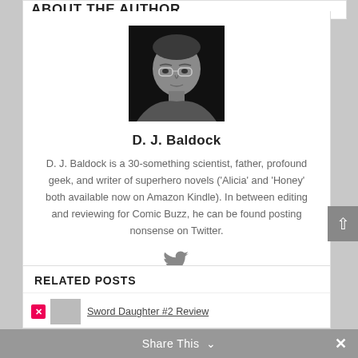ABOUT THE AUTHOR
[Figure (photo): Black and white portrait photo of D. J. Baldock, a man wearing glasses looking slightly down]
D. J. Baldock
D. J. Baldock is a 30-something scientist, father, profound geek, and writer of superhero novels ('Alicia' and 'Honey' both available now on Amazon Kindle). In between editing and reviewing for Comic Buzz, he can be found posting nonsense on Twitter.
[Figure (logo): Twitter bird icon]
RELATED POSTS
Sword Daughter #2 Review